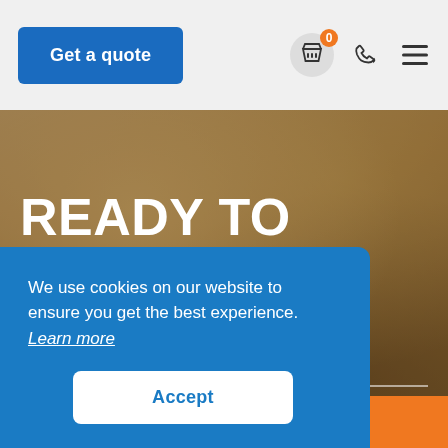[Figure (screenshot): Website header with blue 'Get a quote' button, shopping basket icon with orange badge showing 0, phone icon, and hamburger menu icon on light grey background]
READY TO START YOUR JOURNEY?
[Figure (photo): Blurred office background with warm tones, person writing at desk visible on right side]
We use cookies on our website to ensure you get the best experience. Learn more
Accept
Get a quote